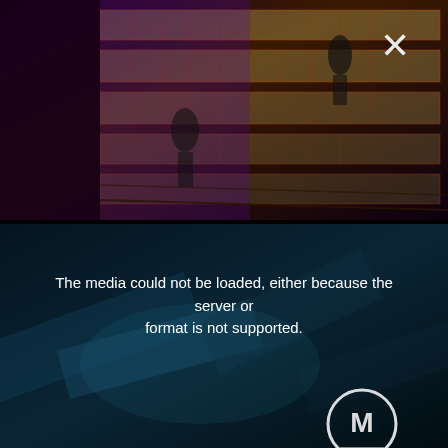[Figure (screenshot): Top panel showing a dark concert/stadium scene with grid-like lighting structures (yellow/cream grids with red accents), purple lighting, and a white X close button in the upper right area.]
The media could not be loaded, either because the server or format is not supported.
[Figure (screenshot): Bottom panel showing a dark blurred background (teal/blue tones, motion-blurred diagonal shapes) with a circular logo mark (letter M in a circle) at the bottom right, and the media error message overlay.]